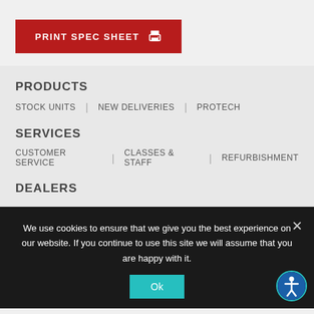PRINT SPEC SHEET
PRODUCTS
STOCK UNITS | NEW DELIVERIES | PROTECH
SERVICES
CUSTOMER SERVICE | CLASSES & STAFF | REFURBISHMENT
DEALERS
We use cookies to ensure that we give you the best experience on our website. If you continue to use this site we will assume that you are happy with it.